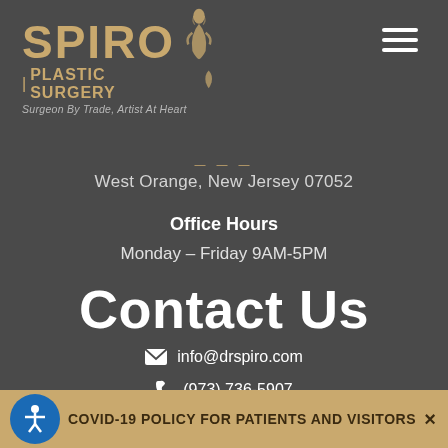[Figure (logo): Spiro Plastic Surgery logo with gold text and stylized figure silhouette. Text reads: SPIRO PLASTIC SURGERY, Surgeon By Trade, Artist At Heart]
West Orange, New Jersey 07052
Office Hours
Monday – Friday 9AM-5PM
Contact Us
info@drspiro.com
(973) 736-5907
COVID-19 POLICY FOR PATIENTS AND VISITORS ×